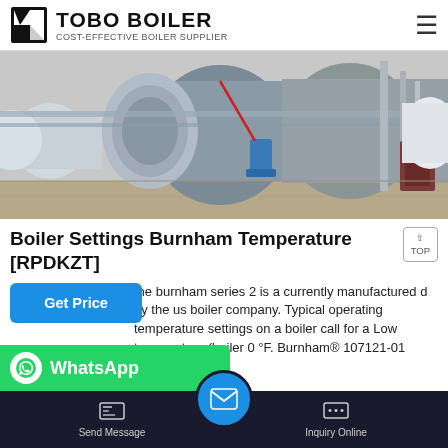TOBO BOILER — COST-EFFECTIVE BOILER SUPPLIER
[Figure (photo): Industrial boiler room with large horizontal cylindrical steel boilers and piping systems]
Boiler Settings Burnham Temperature [RPDKZT]
the burnham series 2 is a currently manufactured d by the us boiler company. Typical operating temperature settings on a boiler call for a Low temperature (boiler 0 °F. Burnham® 107121-01 High…
Send Message | Inquiry Online